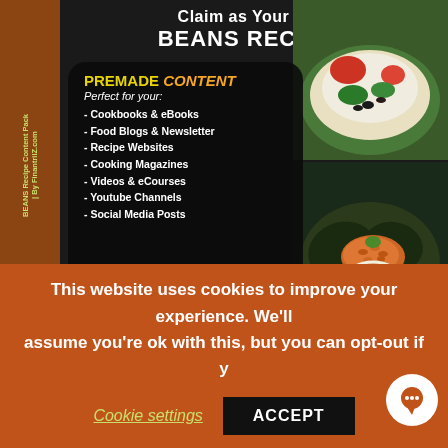[Figure (illustration): Book cover for 'BEANS RECIPES' content pack showing a dark book with brown spine, food images, and a promo overlay listing uses: Cookbooks & eBooks, Food Blogs & Newsletter, Recipe Websites, Cooking Magazines, Videos & eCourses, Youtube Channels, Social Media Posts. Text reads 'Claim as Your Own BEANS RECIPES - PREMADE CONTENT Perfect for your:']
This website uses cookies to improve your experience. We'll assume you're ok with this, but you can opt-out if y
Cookie settings
ACCEPT